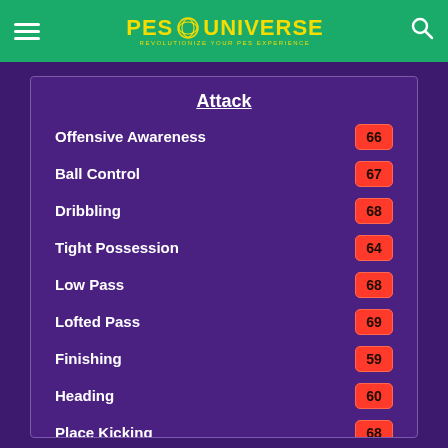PES UNIVERSE
Attack
Offensive Awareness 66
Ball Control 67
Dribbling 68
Tight Possession 64
Low Pass 68
Lofted Pass 69
Finishing 59
Heading 60
Place Kicking 68